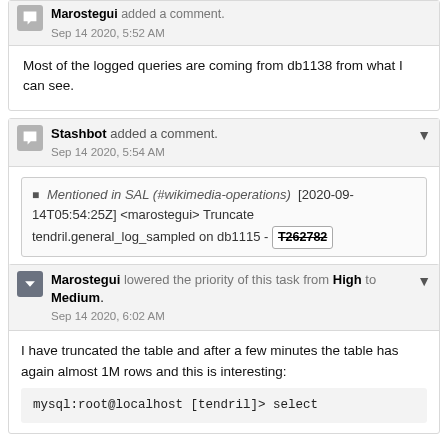Most of the logged queries are coming from db1138 from what I can see.
Stashbot added a comment. Sep 14 2020, 5:54 AM
Mentioned in SAL (#wikimedia-operations) [2020-09-14T05:54:25Z] <marostegui> Truncate tendril.general_log_sampled on db1115 - T262782
Marostegui lowered the priority of this task from High to Medium. Sep 14 2020, 6:02 AM
I have truncated the table and after a few minutes the table has again almost 1M rows and this is interesting:
mysql:root@localhost [tendril]> select